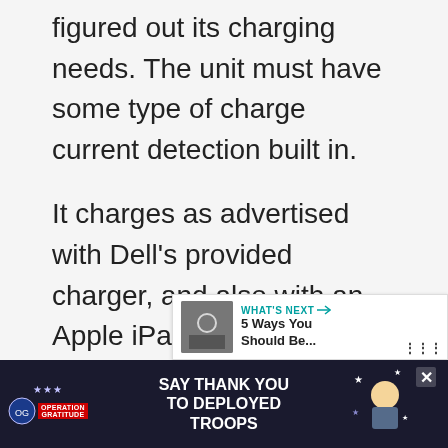figured out its charging needs. The unit must have some type of charge current detection built in.
It charges as advertised with Dell's provided charger, and also with an Apple iPad 12 watt (2.4 amp) charger.
The current supplied by an Ap... 2.1 amp doesn't seem to be...
[Figure (screenshot): Web UI overlay elements: heart/like button (teal circle with heart icon), count '1', share button (white circle with share icon)]
[Figure (screenshot): What's Next widget showing thumbnail image and text '5 Ways You Should Be...']
[Figure (screenshot): Operation Gratitude advertisement banner: 'SAY THANK YOU TO DEPLOYED TROOPS' with patriotic imagery on dark background, close button X]